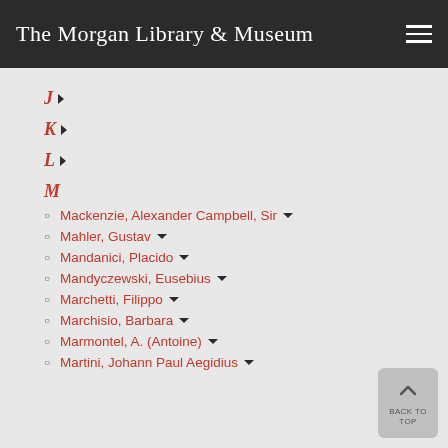The Morgan Library & Museum
J
K
L
M
Mackenzie, Alexander Campbell, Sir
Mahler, Gustav
Mandanici, Placido
Mandyczewski, Eusebius
Marchetti, Filippo
Marchisio, Barbara
Marmontel, A. (Antoine)
Martini, Johann Paul Aegidius